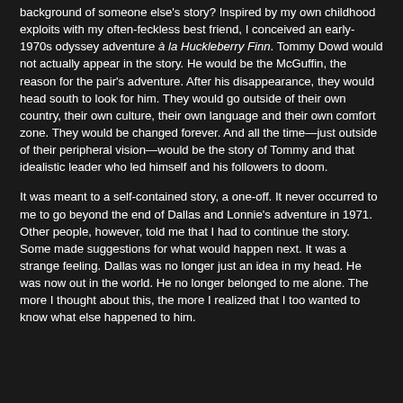background of someone else's story? Inspired by my own childhood exploits with my often-feckless best friend, I conceived an early-1970s odyssey adventure à la Huckleberry Finn. Tommy Dowd would not actually appear in the story. He would be the McGuffin, the reason for the pair's adventure. After his disappearance, they would head south to look for him. They would go outside of their own country, their own culture, their own language and their own comfort zone. They would be changed forever. And all the time—just outside of their peripheral vision—would be the story of Tommy and that idealistic leader who led himself and his followers to doom.
It was meant to a self-contained story, a one-off. It never occurred to me to go beyond the end of Dallas and Lonnie's adventure in 1971. Other people, however, told me that I had to continue the story. Some made suggestions for what would happen next. It was a strange feeling. Dallas was no longer just an idea in my head. He was now out in the world. He no longer belonged to me alone. The more I thought about this, the more I realized that I too wanted to know what else happened to him.